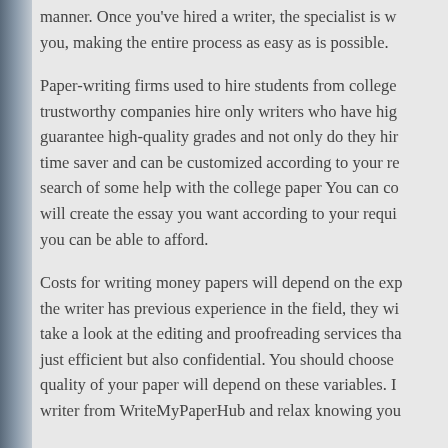manner. Once you've hired a writer, the specialist is working for you, making the entire process as easy as is possible.
Paper-writing firms used to hire students from colleges, but trustworthy companies hire only writers who have high grades to guarantee high-quality grades and not only do they hire, it is a time saver and can be customized according to your requirements, search of some help with the college paper You can contact and will create the essay you want according to your requirements that you can be able to afford.
Costs for writing money papers will depend on the experience, if the writer has previous experience in the field, they will usually take a look at the editing and proofreading services that are not just efficient but also confidential. You should choose a writer quality of your paper will depend on these variables. Hire a writer from WriteMyPaperHub and relax knowing you
Reddit that is a writer's pay to mak
If you're thinking of getting paid to write articles or an